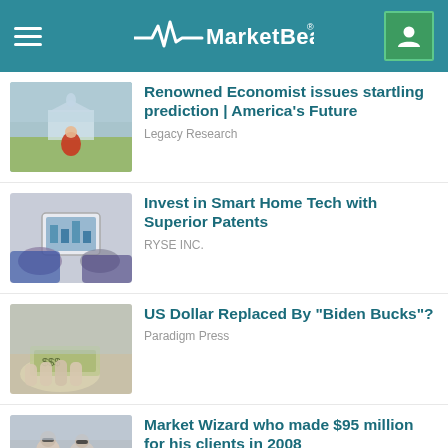MarketBeat
Renowned Economist issues startling prediction | America's Future
Legacy Research
Invest in Smart Home Tech with Superior Patents
RYSE INC.
US Dollar Replaced By "Biden Bucks"?
Paradigm Press
Market Wizard who made $95 million for his clients in 2008